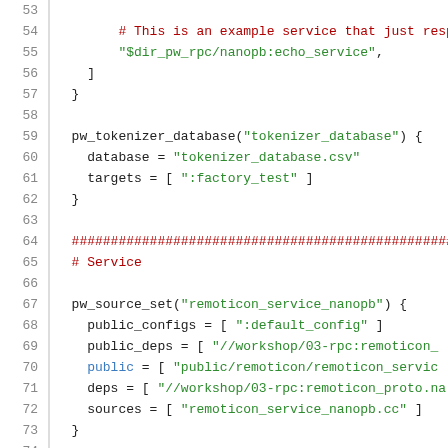[Figure (screenshot): Source code listing in a monospace font showing lines 53-74 of a build configuration file (GN build system). Lines include code blocks with pw_tokenizer_database, pw_source_set, and comments about a Service section. Syntax is highlighted with green for strings, dark red for comments/hashes, blue for some keywords.]